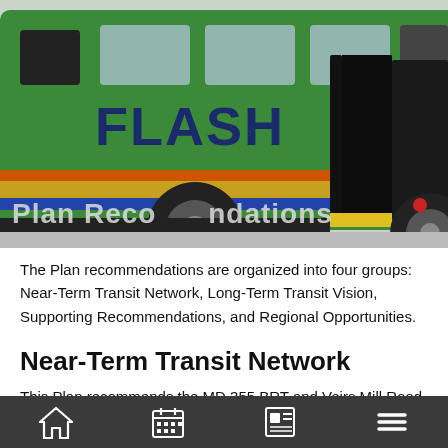[Figure (photo): Green FLASH bus with open doors at a station. The bus has 'FLASH' branding and icons for WiFi, USB, and accessibility on the side.]
Plan Recommendations
The Plan recommendations are organized into four groups: Near-Term Transit Network, Long-Term Transit Vision, Supporting Recommendations, and Regional Opportunities.
Near-Term Transit Network
This Plan recommends the MD 355 BRT and Veirs Mill Road BRT as the most crucial first steps in improving transit
Navigation bar with home, calendar, news, and menu icons